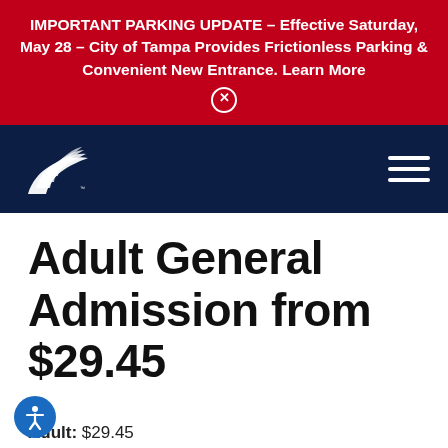IMPORTANT PARKING UPDATE – Effective Saturday, May 28 – City of Tampa Provides Frictionless Parking & Convenient New Entrance. Learn More
[Figure (logo): Florida Aquarium logo — white stylized shell/fin shape on navy background, with hamburger menu icon on right]
Adult General Admission from $29.45
Adult: $29.45
Child: $25.20